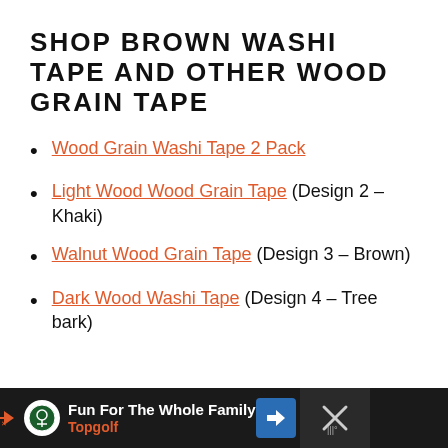SHOP BROWN WASHI TAPE AND OTHER WOOD GRAIN TAPE
Wood Grain Washi Tape 2 Pack
Light Wood Wood Grain Tape (Design 2 – Khaki)
Walnut Wood Grain Tape (Design 3 – Brown)
Dark Wood Washi Tape (Design 4 – Tree bark)
Fun For The Whole Family Topgolf [advertisement]